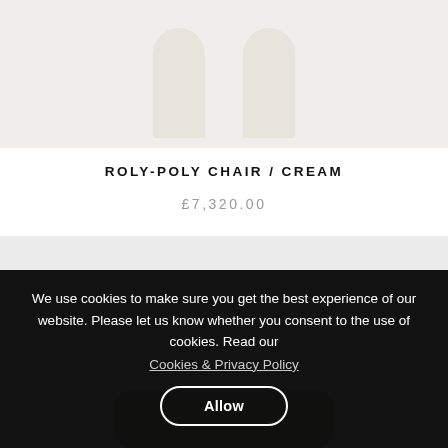[Figure (photo): Close-up of cream/off-white rounded cylindrical chair legs against a light background, product photo of Roly-Poly Chair in Cream colorway]
ROLY-POLY CHAIR / CREAM
£7,320.00
[Figure (photo): Bottom portion of a product photo showing a tan/golden-beige rounded tray or seat cushion against a light grey background]
We use cookies to make sure you get the best experience of our website. Please let us know whether you consent to the use of cookies. Read our
Cookies & Privacy Policy
Allow